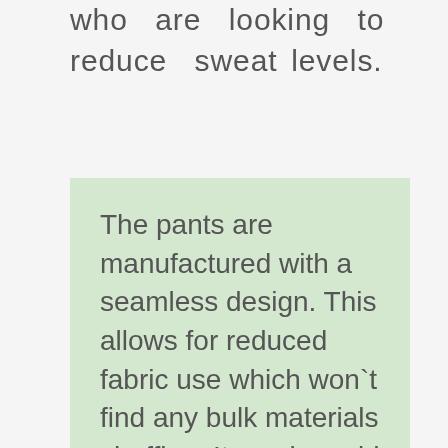who are looking to reduce sweat levels.
The pants are manufactured with a seamless design. This allows for reduced fabric use which won`t find any bulk materials chuffing. It can be said that the pants are a cross between shorts and yoga pants, bringing you the best of both worlds. You get maximum versatility with the comfort of yoga pants and the improved